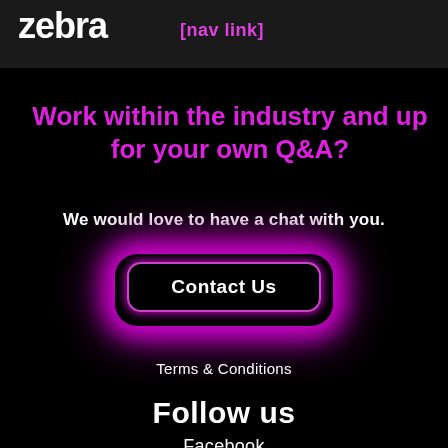zebra | [nav link]
Work within the industry and up for your own Q&A?
We would love to have a chat with you.
Contact Us
Terms & Conditions
Follow us
Facebook
Instagram